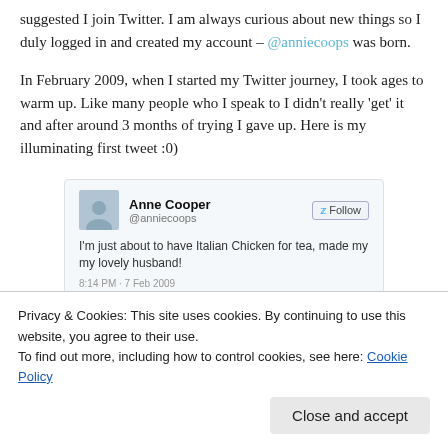suggested I join Twitter. I am always curious about new things so I duly logged in and created my account – @anniecoops was born.
In February 2009, when I started my Twitter journey, I took ages to warm up. Like many people who I speak to I didn't really 'get' it and after around 3 months of trying I gave up. Here is my illuminating first tweet :0)
[Figure (screenshot): Screenshot of a tweet by Anne Cooper (@anniecoops) reading: 'I'm just about to have Italian Chicken for tea, made my my lovely husband!' posted at 8:14 PM - 7 Feb 2009, with a Follow button.]
Privacy & Cookies: This site uses cookies. By continuing to use this website, you agree to their use.
To find out more, including how to control cookies, see here: Cookie Policy